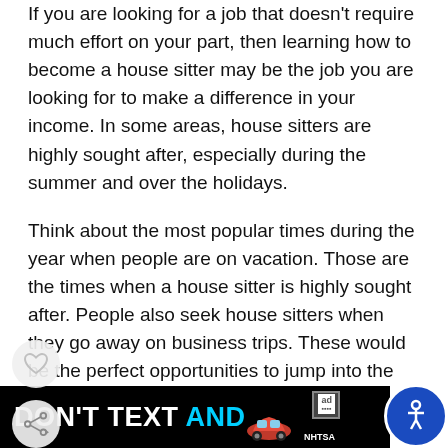If you are looking for a job that doesn't require much effort on your part, then learning how to become a house sitter may be the job you are looking for to make a difference in your income. In some areas, house sitters are highly sought after, especially during the summer and over the holidays.
Think about the most popular times during the year when people are on vacation. Those are the times when a house sitter is highly sought after. People also seek house sitters when they go away on business trips. These would be the perfect opportunities to jump into the business and start making money doing something easy a...
[Figure (other): Advertisement banner at bottom: 'DON'T TEXT AND' with a red car emoji, ad badge, and NHTSA logo on black background. A circular blue accessibility icon on the right. Heart and share UI overlay icons on the left side of page.]